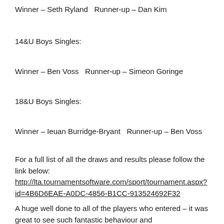Winner – Seth Ryland   Runner-up – Dan Kim
14&U Boys Singles:
Winner – Ben Voss   Runner-up – Simeon Goringe
18&U Boys Singles:
Winner – Ieuan Burridge-Bryant   Runner-up – Ben Voss
For a full list of all the draws and results please follow the link below:
http://lta.tournamentsoftware.com/sport/tournament.aspx?id=4B6D6EAE-A0DC-4856-B1CC-913524692F32
A huge well done to all of the players who entered – it was great to see such fantastic behaviour and